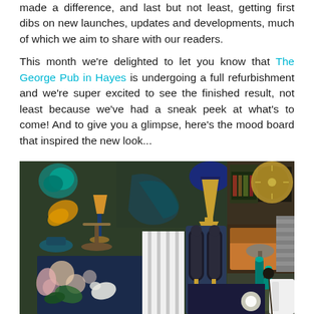made a difference, and last but not least, getting first dibs on new launches, updates and developments, much of which we aim to share with our readers.
This month we're delighted to let you know that The George Pub in Hayes is undergoing a full refurbishment and we're super excited to see the finished result, not least because we've had a sneak peek at what's to come! And to give you a glimpse, here's the mood board that inspired the new look...
[Figure (photo): Mood board image showing interior design elements including lamps, mirrors, floral fabrics, decorative objects, and furniture in dark green, navy blue, gold, and teal color palette for The George Pub refurbishment.]